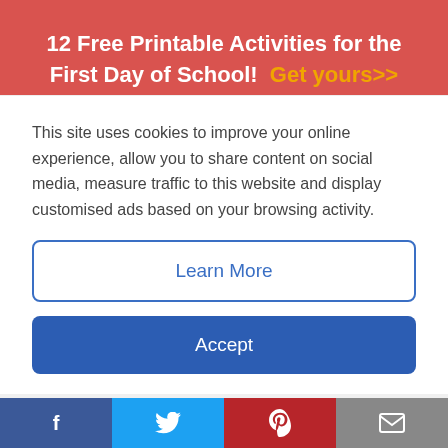12 Free Printable Activities for the First Day of School! Get yours>>
[Figure (screenshot): Partially visible yellow banner with text: Q: Why is the pH of YouTube very]
This site uses cookies to improve your online experience, allow you to share content on social media, measure traffic to this website and display customised ads based on your browsing activity.
Learn More
Accept
[Figure (illustration): Thumbnail image of a notebook/printable with red border]
12 Free First-Day-of-School Printables You Don't Want To Miss!
f  (Twitter bird)  P  (envelope icon)